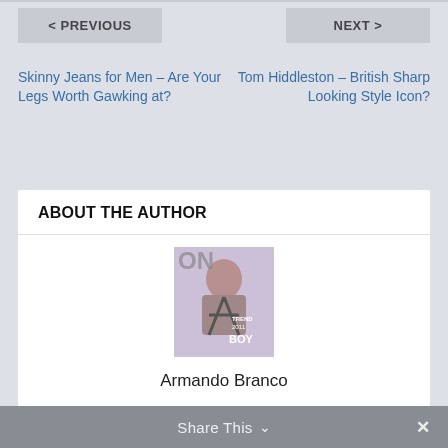< PREVIOUS
NEXT >
Skinny Jeans for Men – Are Your Legs Worth Gawking at?
Tom Hiddleston – British Sharp Looking Style Icon?
ABOUT THE AUTHOR
[Figure (photo): Magazine cover photo showing a man on a fashion magazine cover with text 'BOY' and 'TREND 2011']
Armando Branco
Armando Branco is a fashion photographer. You can find his work at: Armando Branco
Share This ∨  ✕